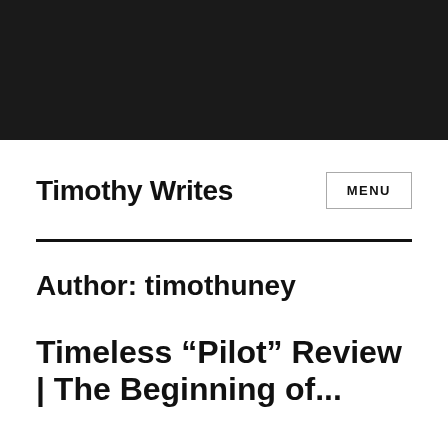[Figure (photo): Black banner/header image at the top of the page]
Timothy Writes
MENU
Author: timothuney
Timeless “Pilot” Review | The Beginning of...